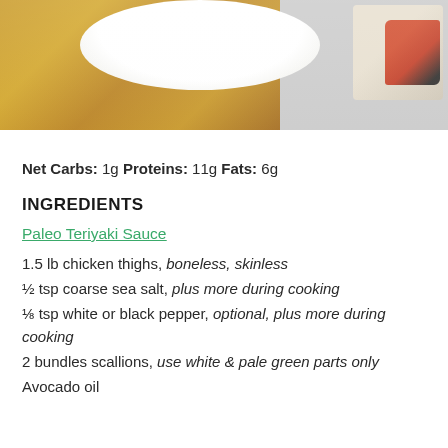[Figure (photo): Top-down photo of a white plate with golden yellow cloth/napkin and a small square dish with food in the upper right corner]
Net Carbs: 1g Proteins: 11g Fats: 6g
INGREDIENTS
Paleo Teriyaki Sauce
1.5 lb chicken thighs, boneless, skinless
½ tsp coarse sea salt, plus more during cooking
⅛ tsp white or black pepper, optional, plus more during cooking
2 bundles scallions, use white & pale green parts only
Avocado oil